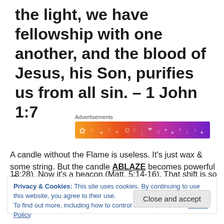the light, we have fellowship with one another, and the blood of Jesus, his Son, purifies us from all sin. – 1 John 1:7
Advertisements
[Figure (illustration): Colorful gradient banner advertisement with orange-to-purple gradient and decorative musical note and heart icons]
A candle without the Flame is useless. It's just wax & some string. But the candle ABLAZE becomes powerful (Psa. 18:28). Now it's a beacon (Matt. 5:14-16). That shift is solely...
Privacy & Cookies: This site uses cookies. By continuing to use this website, you agree to their use.
To find out more, including how to control cookies, see here: Cookie Policy
Close and accept
As lanterns for the Gospel we carry the light of God's